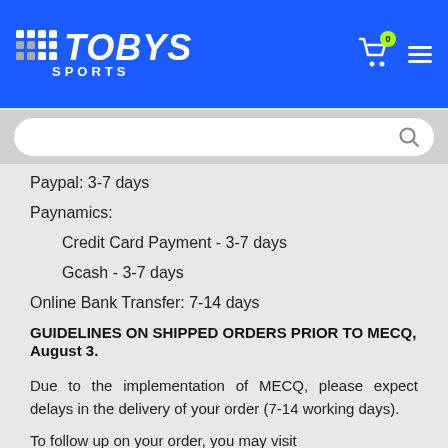[Figure (logo): Toby's Sports logo with grid dots and blue background header including cart icon and hamburger menu]
[Figure (screenshot): Search bar with white rounded input and search icon]
Paypal: 3-7 days
Paynamics:
Credit Card Payment - 3-7 days
Gcash - 3-7 days
Online Bank Transfer: 7-14 days
GUIDELINES ON SHIPPED ORDERS PRIOR TO MECQ, August 3.
Due to the implementation of MECQ, please expect delays in the delivery of your order (7-14 working days).
To follow up on your order, you may visit